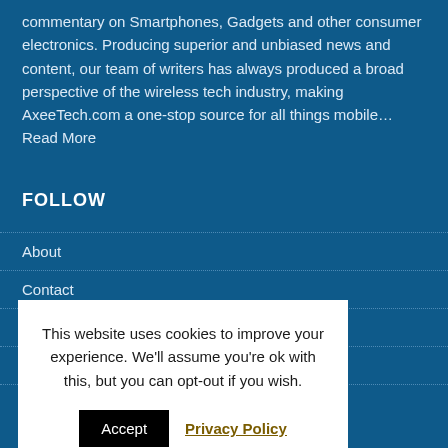commentary on Smartphones, Gadgets and other consumer electronics. Producing superior and unbiased news and content, our team of writers has always produced a broad perspective of the wireless tech industry, making AxeeTech.com a one-stop source for all things mobile… Read More
FOLLOW
About
Contact
Disclaimer
Privacy Policy
This website uses cookies to improve your experience. We'll assume you're ok with this, but you can opt-out if you wish. Accept  Privacy Policy